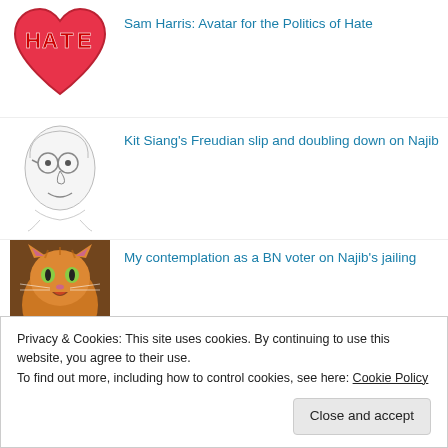Sam Harris: Avatar for the Politics of Hate
Kit Siang's Freudian slip and doubling down on Najib
My contemplation as a BN voter on Najib's jailing
Privacy & Cookies: This site uses cookies. By continuing to use this website, you agree to their use.
To find out more, including how to control cookies, see here: Cookie Policy
Close and accept